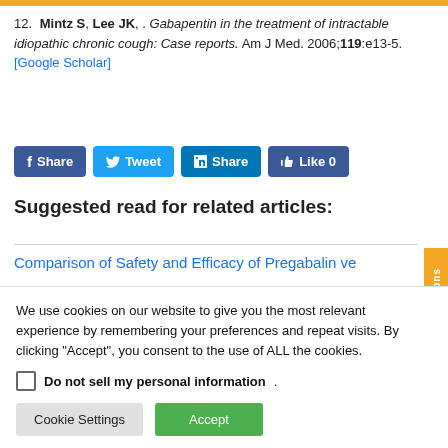12. Mintz S, Lee JK, . Gabapentin in the treatment of intractable idiopathic chronic cough: Case reports. Am J Med. 2006;119:e13-5. [Google Scholar]
[Figure (screenshot): Social sharing buttons: Facebook Share, Twitter Tweet, LinkedIn Share, Facebook Like 0]
Suggested read for related articles:
Comparison of Safety and Efficacy of Pregabalin ve...
We use cookies on our website to give you the most relevant experience by remembering your preferences and repeat visits. By clicking "Accept", you consent to the use of ALL the cookies.
Do not sell my personal information.
Cookie Settings  Accept